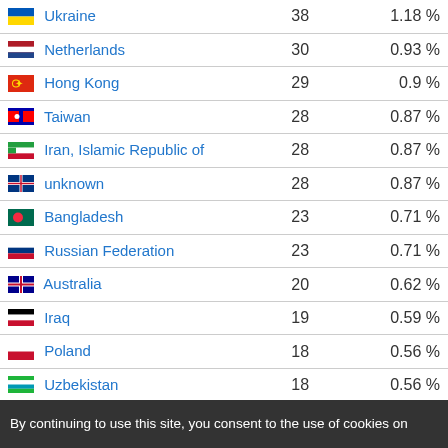| Country | Count | Percentage |
| --- | --- | --- |
| Ukraine | 38 | 1.18 % |
| Netherlands | 30 | 0.93 % |
| Hong Kong | 29 | 0.9 % |
| Taiwan | 28 | 0.87 % |
| Iran, Islamic Republic of | 28 | 0.87 % |
| unknown | 28 | 0.87 % |
| Bangladesh | 23 | 0.71 % |
| Russian Federation | 23 | 0.71 % |
| Australia | 20 | 0.62 % |
| Iraq | 19 | 0.59 % |
| Poland | 18 | 0.56 % |
| Uzbekistan | 18 | 0.56 % |
| Nigeria | 16 | 0.5 % |
By continuing to use this site, you consent to the use of cookies on